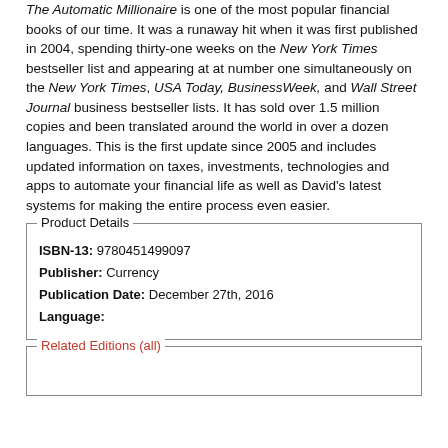The Automatic Millionaire is one of the most popular financial books of our time. It was a runaway hit when it was first published in 2004, spending thirty-one weeks on the New York Times bestseller list and appearing at at number one simultaneously on the New York Times, USA Today, BusinessWeek, and Wall Street Journal business bestseller lists. It has sold over 1.5 million copies and been translated around the world in over a dozen languages. This is the first update since 2005 and includes updated information on taxes, investments, technologies and apps to automate your financial life as well as David's latest systems for making the entire process even easier.
| ISBN-13: | 9780451499097 |
| Publisher: | Currency |
| Publication Date: | December 27th, 2016 |
| Language: |  |
Related Editions (all)